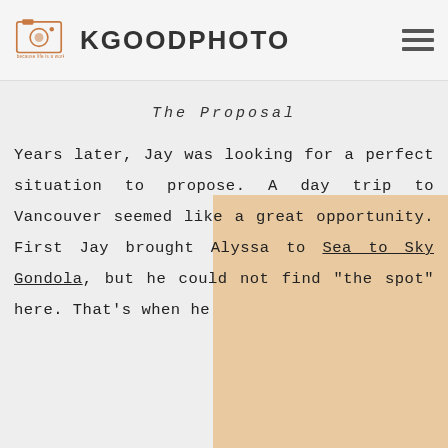KGOODPHOTO
The Proposal
Years later, Jay was looking for a perfect situation to propose. A day trip to Vancouver seemed like a great opportunity. First Jay brought Alyssa to Sea to Sky Gondola, but he could not find "the spot" here. That's when he